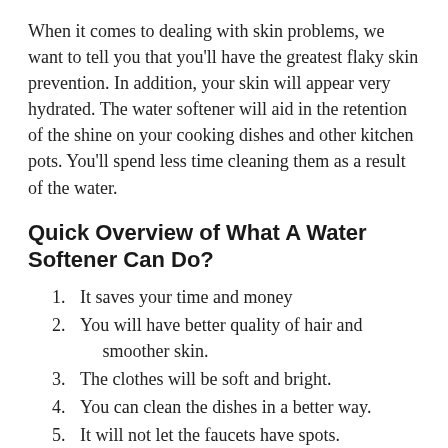When it comes to dealing with skin problems, we want to tell you that you'll have the greatest flaky skin prevention. In addition, your skin will appear very hydrated. The water softener will aid in the retention of the shine on your cooking dishes and other kitchen pots. You'll spend less time cleaning them as a result of the water.
Quick Overview of What A Water Softener Can Do?
It saves your time and money
You will have better quality of hair and smoother skin.
The clothes will be soft and bright.
You can clean the dishes in a better way.
It will not let the faucets have spots.